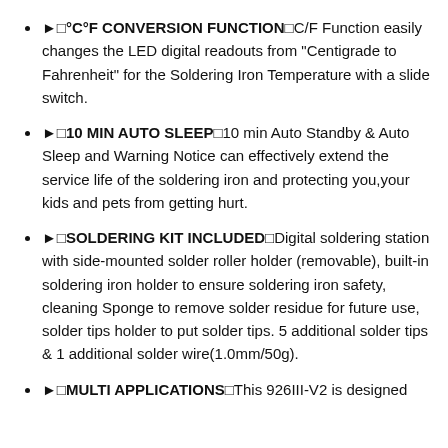►□°C°F CONVERSION FUNCTION□C/F Function easily changes the LED digital readouts from "Centigrade to Fahrenheit" for the Soldering Iron Temperature with a slide switch.
►□10 MIN AUTO SLEEP□10 min Auto Standby & Auto Sleep and Warning Notice can effectively extend the service life of the soldering iron and protecting you,your kids and pets from getting hurt.
►□SOLDERING KIT INCLUDED□Digital soldering station with side-mounted solder roller holder (removable), built-in soldering iron holder to ensure soldering iron safety, cleaning Sponge to remove solder residue for future use, solder tips holder to put solder tips. 5 additional solder tips & 1 additional solder wire(1.0mm/50g).
►□MULTI APPLICATIONS□This 926III-V2 is designed